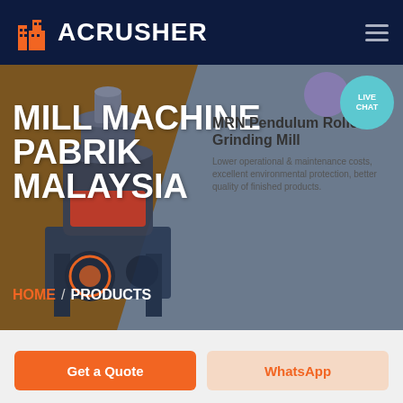ACRUSHER
[Figure (screenshot): Website screenshot showing ACRUSHER brand header with dark navy background, orange building logo icon, and hamburger menu. Hero section with brown/grey diagonal background showing a mill grinding machine on the left, large white bold text 'MILL MACHINE PABRIK MALAYSIA', a product card showing 'MRN Pendulum Roller Grinding Mill' with description text on the right, live chat bubble, and HOME / PRODUCTS breadcrumb navigation.]
MILL MACHINE PABRIK MALAYSIA
MRN Pendulum Roller Grinding Mill
Lower operational & maintenance costs, excellent environmental protection, better quality of finished products.
HOME / PRODUCTS
Get a Quote
WhatsApp